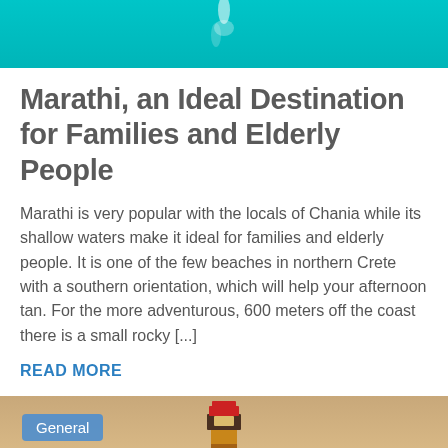[Figure (photo): Top portion of a photo with turquoise/cyan water background and a small splash or wave visible]
Marathi, an Ideal Destination for Families and Elderly People
Marathi is very popular with the locals of Chania while its shallow waters make it ideal for families and elderly people. It is one of the few beaches in northern Crete with a southern orientation, which will help your afternoon tan. For the more adventurous, 600 meters off the coast there is a small rocky [...]
READ MORE
[Figure (photo): Bottom portion of a photo showing a lighthouse tower against a warm sunset/dusk sky, with a 'General' category badge overlay in the top-left corner]